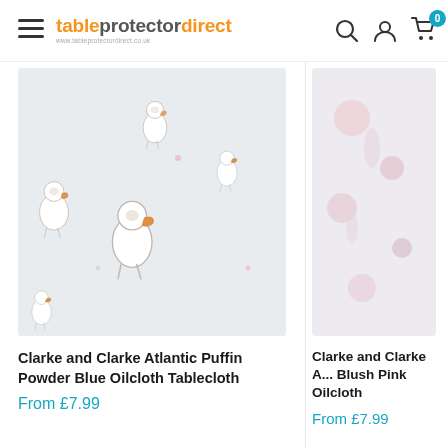tableprotectordirect — navigation header with search, account, and cart icons
[Figure (photo): Clarke and Clarke Atlantic Puffin pattern on light grey/blue background — multiple puffin bird illustrations in outline style]
Clarke and Clarke Atlantic Puffin Powder Blue Oilcloth Tablecloth
From £7.99
[Figure (photo): Clarke and Clarke Atlantic Blush Pink Oilcloth product image, partially visible on right side]
Clarke and Clarke A... Blush Pink Oilcloth
From £7.99